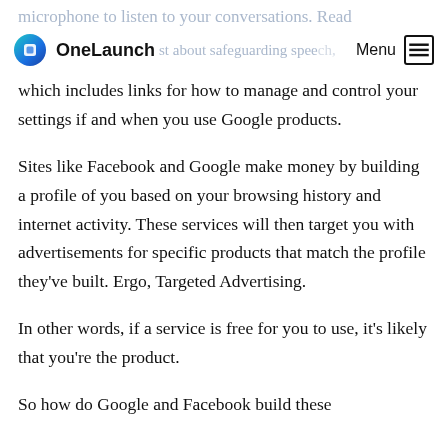microphone to listen to your conversations. Read
OneLaunch  about safeguarding speech,  Menu
which includes links for how to manage and control your settings if and when you use Google products.
Sites like Facebook and Google make money by building a profile of you based on your browsing history and internet activity. These services will then target you with advertisements for specific products that match the profile they’ve built. Ergo, Targeted Advertising.
In other words, if a service is free for you to use, it’s likely that you’re the product.
So how do Google and Facebook build these